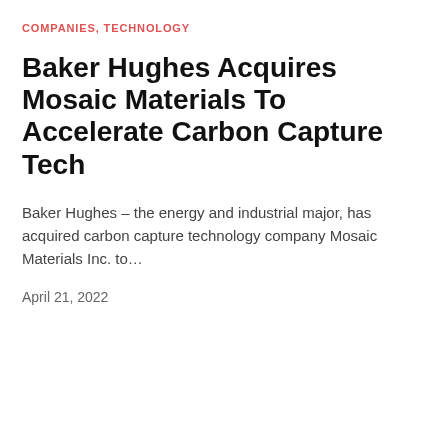COMPANIES, TECHNOLOGY
Baker Hughes Acquires Mosaic Materials To Accelerate Carbon Capture Tech
Baker Hughes – the energy and industrial major, has acquired carbon capture technology company Mosaic Materials Inc. to…
April 21, 2022